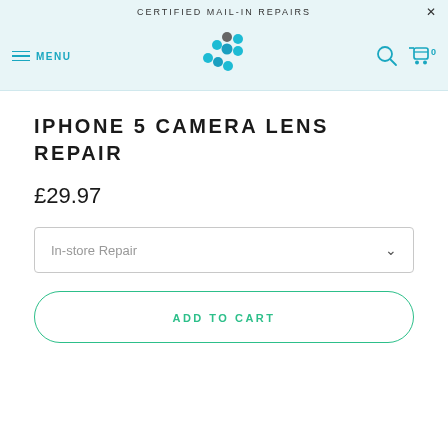CERTIFIED MAIL-IN REPAIRS
[Figure (logo): Colourful dot cluster logo (blue and grey dots) in navigation bar]
IPHONE 5 CAMERA LENS REPAIR
£29.97
In-store Repair
ADD TO CART